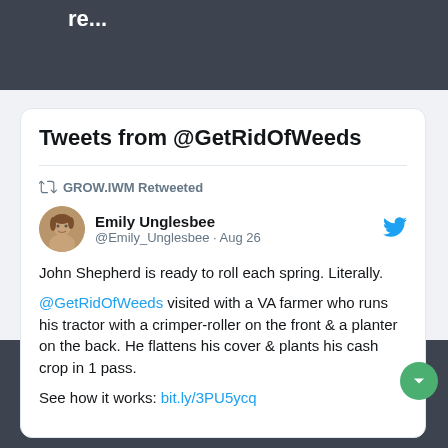re...
Tweets from @GetRidOfWeeds
GROW.IWM Retweeted
Emily Unglesbee @Emily_Unglesbee · Aug 26
John Shepherd is ready to roll each spring. Literally.

@GetRidOfWeeds visited with a VA farmer who runs his tractor with a crimper-roller on the front & a planter on the back. He flattens his cover & plants his cash crop in 1 pass.

See how it works: bit.ly/3PU5ycq